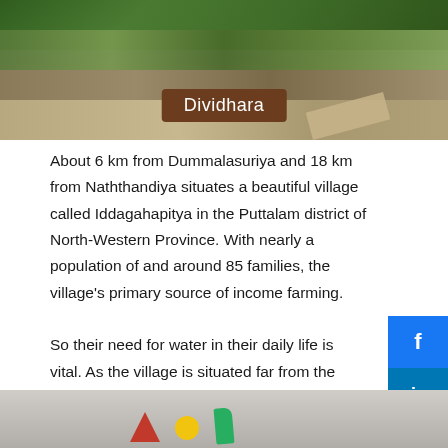[Figure (photo): Outdoor forest/nature photo with a brown label reading 'Dividhara' overlaid in the center, and a tan strip in the lower right corner]
About 6 km from Dummalasuriya and 18 km from Naththandiya situates a beautiful village called Iddagahapitya in the Puttalam district of North-Western Province. With nearly a population of and around 85 families, the village's primary source of income farming.
So their need for water in their daily life is vital. As the village is situated far from the urban areas, there is no proper pipeline of water laid. Though lakes are available at a distance from the village, they are used for agricultural activities and not for consumption. They depend heavily on rainfall for their supply of water. Surface level wells are there, which get collected during the rain. But when the dry season arrives, they all get dried up.
[Figure (photo): Partial outdoor photo visible at the bottom of the page with colorful shapes/objects]